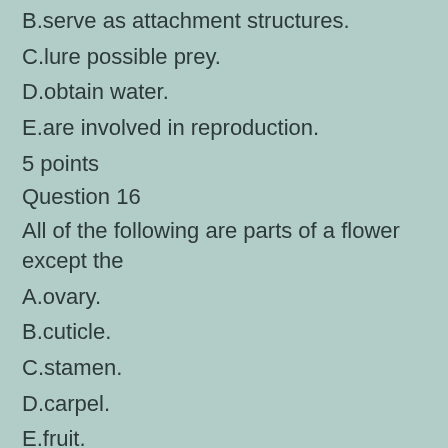B.serve as attachment structures.
C.lure possible prey.
D.obtain water.
E.are involved in reproduction.
5 points
Question 16
All of the following are parts of a flower except the
A.ovary.
B.cuticle.
C.stamen.
D.carpel.
E.fruit.
5 points